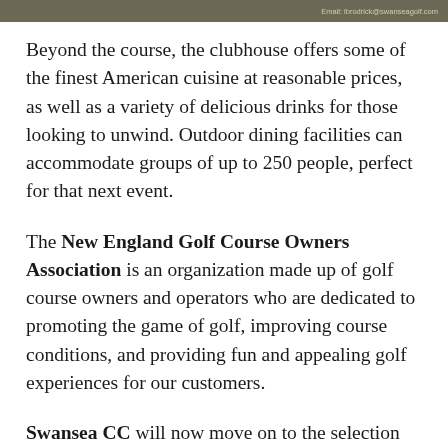Email: lbrodrick@swanseagolf.com
Beyond the course, the clubhouse offers some of the finest American cuisine at reasonable prices, as well as a variety of delicious drinks for those looking to unwind. Outdoor dining facilities can accommodate groups of up to 250 people, perfect for that next event.
The New England Golf Course Owners Association is an organization made up of golf course owners and operators who are dedicated to promoting the game of golf, improving course conditions, and providing fun and appealing golf experiences for our customers.
Swansea CC will now move on to the selection process for National Course of the Year, which will be determined in January at the NGCOA Golf Business Conference.